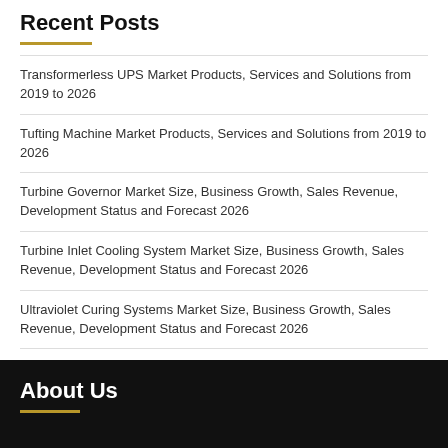Recent Posts
Transformerless UPS Market Products, Services and Solutions from 2019 to 2026
Tufting Machine Market Products, Services and Solutions from 2019 to 2026
Turbine Governor Market Size, Business Growth, Sales Revenue, Development Status and Forecast 2026
Turbine Inlet Cooling System Market Size, Business Growth, Sales Revenue, Development Status and Forecast 2026
Ultraviolet Curing Systems Market Size, Business Growth, Sales Revenue, Development Status and Forecast 2026
About Us